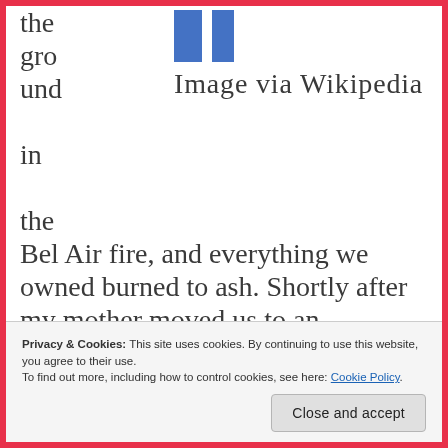[Figure (illustration): Two blue rectangular bars resembling a Finnish flag or similar image placeholder, with caption 'Image via Wikipedia']
Image via Wikipedia
the ground in the Bel Air fire, and everything we owned burned to ash. Shortly after my mother moved us to an apartment in Brentwood, a mammoth carton arrived and was placed in the center of the living room. My mother cut it open and
Privacy & Cookies: This site uses cookies. By continuing to use this website, you agree to their use.
To find out more, including how to control cookies, see here: Cookie Policy
Close and accept